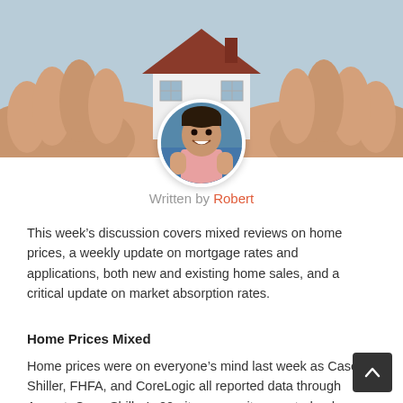[Figure (photo): Hands holding a small model house, hero banner image at top of article]
[Figure (photo): Circular avatar portrait of Robert, a smiling man in a pink shirt standing near water]
Written by Robert
This week’s discussion covers mixed reviews on home prices, a weekly update on mortgage rates and applications, both new and existing home sales, and a critical update on market absorption rates.
Home Prices Mixed
Home prices were on everyone’s mind last week as Case-Shiller, FHFA, and CoreLogic all reported data through August. Case-Shiller’s 20-city composite reported a drop of 0.2%. The numbers are 1.7% higher than August of last year though. CoreLogic reported a 1.5% drop in home